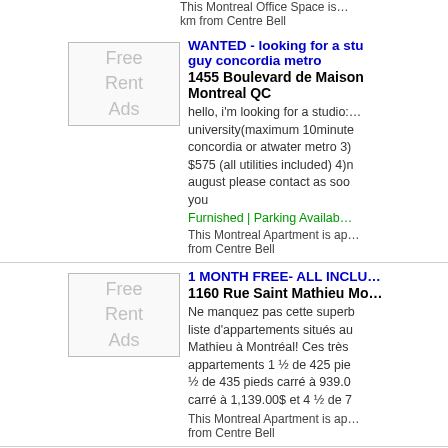This Montreal Office Space is... km from Centre Bell
WANTED - looking for a stu guy concordia metro
1455 Boulevard de Maison... Montreal QC
[Figure (other): Free Rent Ads placeholder image]
hello, i'm looking for a studio:... you
Furnished | Parking Availab...
This Montreal Apartment is ap... from Centre Bell
1 MONTH FREE- ALL INCLU...
1160 Rue Saint Mathieu Mo...
[Figure (other): Free Rent Ads placeholder image]
Ne manquez pas cette superb liste d'appartements situés au Mathieu à Montréal! Ces très appartements 1 ½ de 425 pie... ½ de 435 pieds carré à 939.0 carré à 1,139.00$ et 4 ½ de 7
This Montreal Apartment is ap... from Centre Bell
1 MONTH FREE- ALL INCLU...
1160 Rue Saint Mathieu Mo...
Ne manquez pas cette superb...